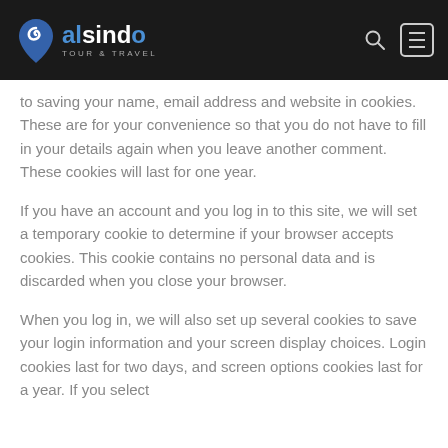alsindo Tour & Travel
to saving your name, email address and website in cookies. These are for your convenience so that you do not have to fill in your details again when you leave another comment. These cookies will last for one year.
If you have an account and you log in to this site, we will set a temporary cookie to determine if your browser accepts cookies. This cookie contains no personal data and is discarded when you close your browser.
When you log in, we will also set up several cookies to save your login information and your screen display choices. Login cookies last for two days, and screen options cookies last for a year. If you select